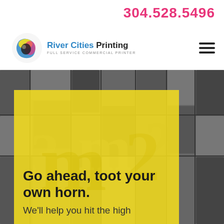304.528.5496
[Figure (logo): River Cities Printing logo with CMYK circular icon and text 'River Cities Printing – Full Service Commercial Printer']
[Figure (illustration): Grayscale letterpress type blocks background with yellow semi-transparent overlay containing tagline text]
Go ahead, toot your own horn.
We'll help you hit the high